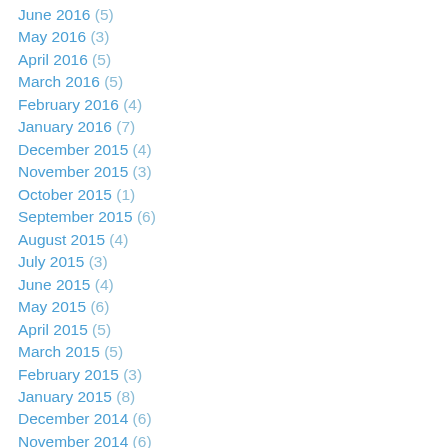June 2016 (5)
May 2016 (3)
April 2016 (5)
March 2016 (5)
February 2016 (4)
January 2016 (7)
December 2015 (4)
November 2015 (3)
October 2015 (1)
September 2015 (6)
August 2015 (4)
July 2015 (3)
June 2015 (4)
May 2015 (6)
April 2015 (5)
March 2015 (5)
February 2015 (3)
January 2015 (8)
December 2014 (6)
November 2014 (6)